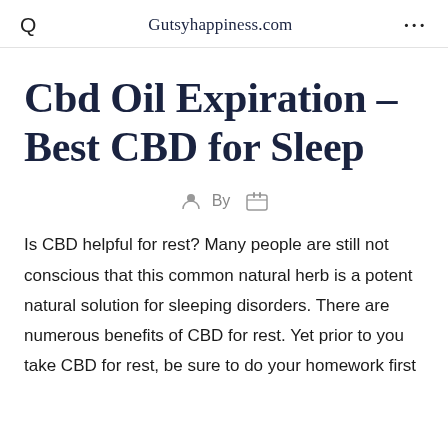Gutsyhappiness.com
Cbd Oil Expiration – Best CBD for Sleep
By
Is CBD helpful for rest? Many people are still not conscious that this common natural herb is a potent natural solution for sleeping disorders. There are numerous benefits of CBD for rest. Yet prior to you take CBD for rest, be sure to do your homework first